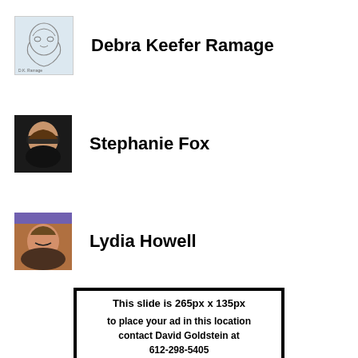[Figure (photo): Sketch/illustration portrait of Debra Keefer Ramage]
Debra Keefer Ramage
[Figure (photo): Photo of Stephanie Fox wearing sunglasses]
Stephanie Fox
[Figure (photo): Photo of Lydia Howell smiling, wearing a headband]
Lydia Howell
This slide is 265px x 135px

to place your ad in this location contact David Goldstein at 612-298-5405 or david@southsidepride.com